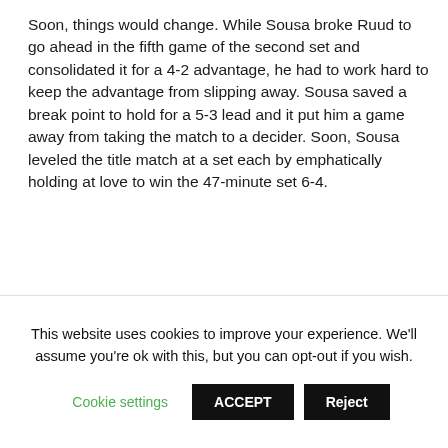Soon, things would change. While Sousa broke Ruud to go ahead in the fifth game of the second set and consolidated it for a 4-2 advantage, he had to work hard to keep the advantage from slipping away. Sousa saved a break point to hold for a 5-3 lead and it put him a game away from taking the match to a decider. Soon, Sousa leveled the title match at a set each by emphatically holding at love to win the 47-minute set 6-4.
[Figure (other): ATP Tour Twitter card with ATP Tour logo (dark circle with ATP TOUR text), account name 'ATP Tour' with blue verified checkmark, and Twitter bird icon in blue on the right]
This website uses cookies to improve your experience. We'll assume you're ok with this, but you can opt-out if you wish.
Cookie settings  ACCEPT  Reject